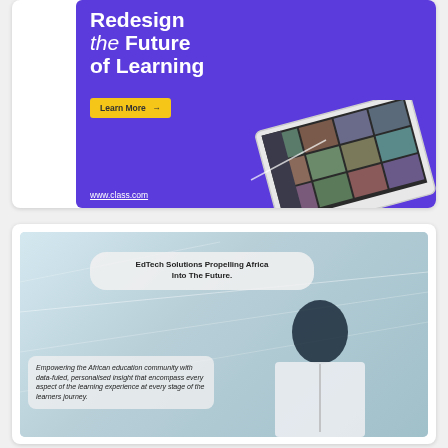[Figure (infographic): Advertisement card for Class.com with purple background showing 'Redesign the Future of Learning' headline, a Learn More button, a tablet with video conference grid, and www.class.com URL]
[Figure (infographic): Advertisement card showing 'EdTech Solutions Propelling Africa Into The Future.' with a person in white jacket on a light blue/grey futuristic background, and text 'Empowering the African education community with data-fuled, personalised insight that encompass every aspect of the learning experience at every stage of the learners journey.']